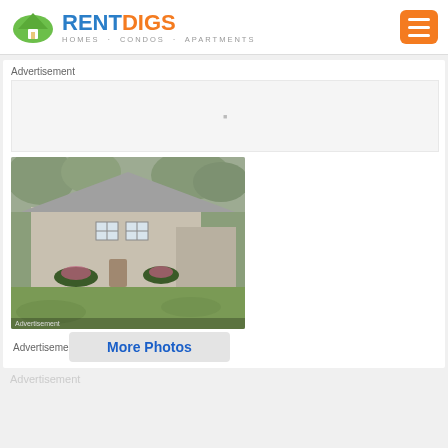[Figure (logo): RentDigs logo with house icon, text RENT in blue and DIGS in orange, subtitle HOMES · CONDOS · APARTMENTS]
[Figure (other): Orange hamburger menu button with three white lines]
Advertisement
[Figure (photo): Exterior photo of a single-story ranch house with gray siding, a large lawn, trees in background, and flower beds near the entrance]
Advertisement
More Photos
Advertisement
Advertisement